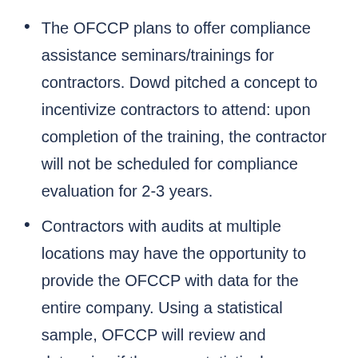The OFCCP plans to offer compliance assistance seminars/trainings for contractors. Dowd pitched a concept to incentivize contractors to attend: upon completion of the training, the contractor will not be scheduled for compliance evaluation for 2-3 years.
Contractors with audits at multiple locations may have the opportunity to provide the OFCCP with data for the entire company. Using a statistical sample, OFCCP will review and determine if there are statistical indicators if the...